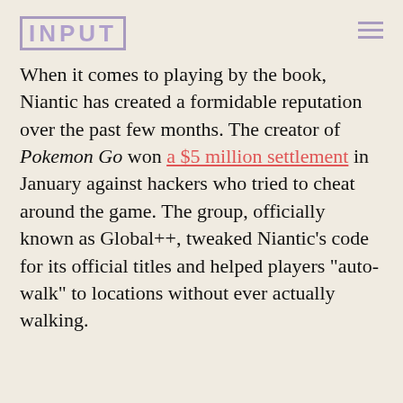INPUT
When it comes to playing by the book, Niantic has created a formidable reputation over the past few months. The creator of Pokemon Go won a $5 million settlement in January against hackers who tried to cheat around the game. The group, officially known as Global++, tweaked Niantic's code for its official titles and helped players "auto-walk" to locations without ever actually walking.
ADVERTISEMENT